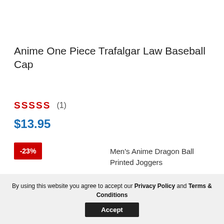Anime One Piece Trafalgar Law Baseball Cap
SSSSS (1)
$13.95
-23%
Men's Anime Dragon Ball Printed Joggers
By using this website you agree to accept our Privacy Policy and Terms & Conditions Accept